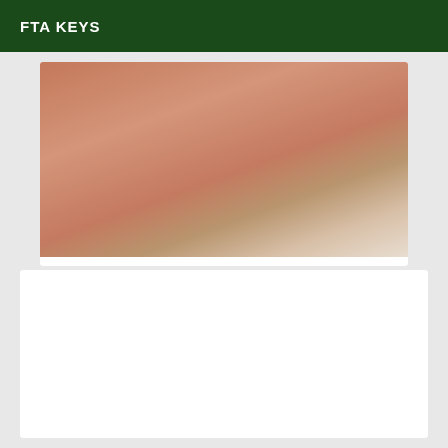FTA KEYS
[Figure (photo): Close-up photo of skin/body part with white background visible at bottom right]
Gabriela beautiful Brazilian transex
Trans Trans callgirl Pine Bluff
Hello I am Gabriela beautiful Brazilian transgender very active and passive to make you spend an unforgettable moment... Bisoussss